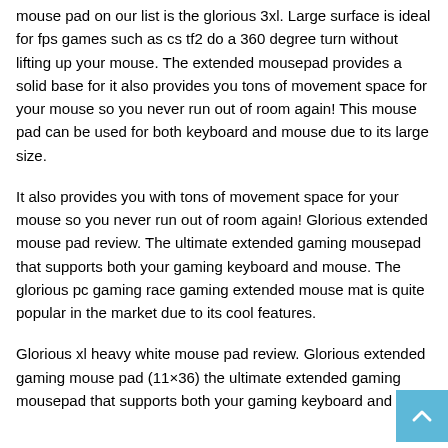mouse pad on our list is the glorious 3xl. Large surface is ideal for fps games such as cs tf2 do a 360 degree turn without lifting up your mouse. The extended mousepad provides a solid base for it also provides you tons of movement space for your mouse so you never run out of room again! This mouse pad can be used for both keyboard and mouse due to its large size.
It also provides you with tons of movement space for your mouse so you never run out of room again! Glorious extended mouse pad review. The ultimate extended gaming mousepad that supports both your gaming keyboard and mouse. The glorious pc gaming race gaming extended mouse mat is quite popular in the market due to its cool features.
Glorious xl heavy white mouse pad review. Glorious extended gaming mouse pad (11×36) the ultimate extended gaming mousepad that supports both your gaming keyboard and